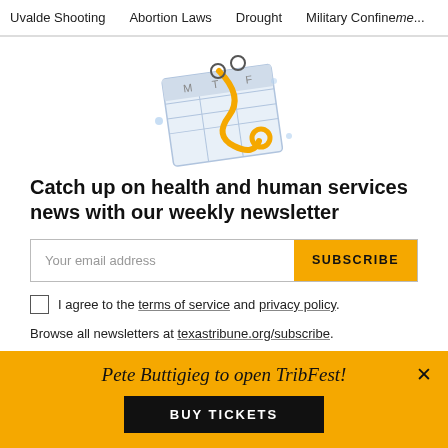Uvalde Shooting   Abortion Laws   Drought   Military Confinement
[Figure (illustration): Illustration of a calendar/notepad with a yellow stethoscope and small decorative dots]
Catch up on health and human services news with our weekly newsletter
Your email address [input field] SUBSCRIBE
I agree to the terms of service and privacy policy.
Browse all newsletters at texastribune.org/subscribe.
Pete Buttigieg to open TribFest!
BUY TICKETS